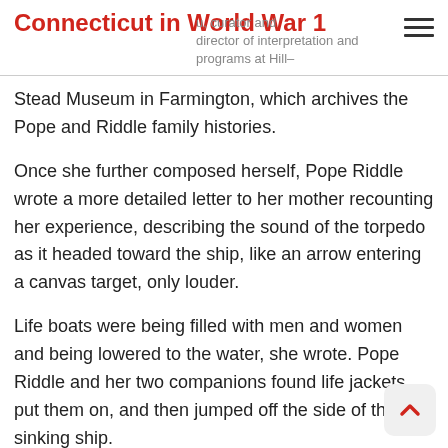Connecticut in World War 1
u, curator and director of interpretation and programs at Hill-Stead Museum in Farmington, which archives the Pope and Riddle family histories.
Once she further composed herself, Pope Riddle wrote a more detailed letter to her mother recounting her experience, describing the sound of the torpedo as it headed toward the ship, like an arrow entering a canvas target, only louder.
Life boats were being filled with men and women and being lowered to the water, she wrote. Pope Riddle and her two companions found life jackets, put them on, and then jumped off the side of the sinking ship.
Pope Riddle then...